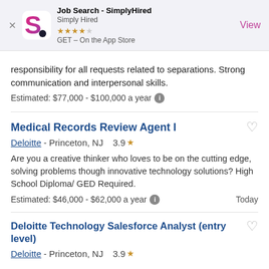[Figure (screenshot): SimplyHired app store banner with logo, star rating (4 stars), and View button]
responsibility for all requests related to separations. Strong communication and interpersonal skills.
Estimated: $77,000 - $100,000 a year
Medical Records Review Agent I
Deloitte - Princeton, NJ  3.9★
Are you a creative thinker who loves to be on the cutting edge, solving problems though innovative technology solutions? High School Diploma/ GED Required.
Estimated: $46,000 - $62,000 a year  Today
Deloitte Technology Salesforce Analyst (entry level)
Deloitte - Princeton, NJ  3.9★